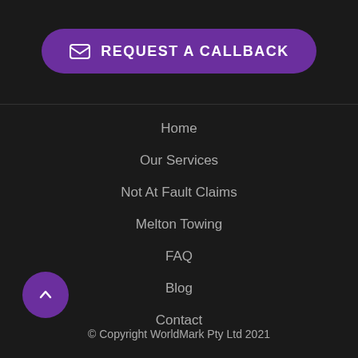[Figure (other): Purple rounded button with envelope icon and text REQUEST A CALLBACK]
Home
Our Services
Not At Fault Claims
Melton Towing
FAQ
Blog
Contact
© Copyright WorldMark Pty Ltd 2021